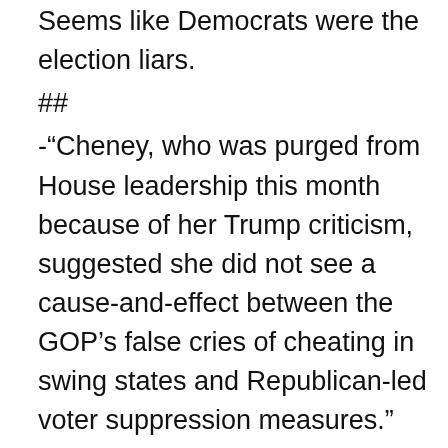Seems like Democrats were the election liars.
##
-“Cheney, who was purged from House leadership this month because of her Trump criticism, suggested she did not see a cause-and-effect between the GOP’s false cries of cheating in swing states and Republican-led voter suppression measures.”
–What “false cries of cheating?” How about, dozens of election laws were ILLEGALLY changed at the last minute due to the “Covid E.L.U”. By people who had not